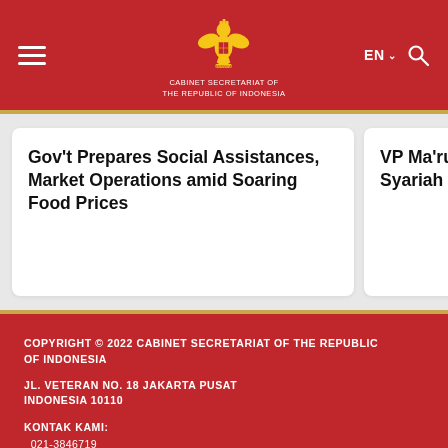[Figure (logo): Cabinet Secretariat of the Republic of Indonesia logo with Garuda emblem on red header bar, hamburger menu, EN language selector, and search icon]
Gov't Prepares Social Assistances, Market Operations amid Soaring Food Prices
VP Ma'ruf Amin Inaugurates Syariah in Riau Province
COPYRIGHT © 2022 CABINET SECRETARIAT OF THE REPUBLIC OF INDONESIA

JL. VETERAN NO. 18 JAKARTA PUSAT INDONESIA 10110

KONTAK KAMI:
  021-3846719